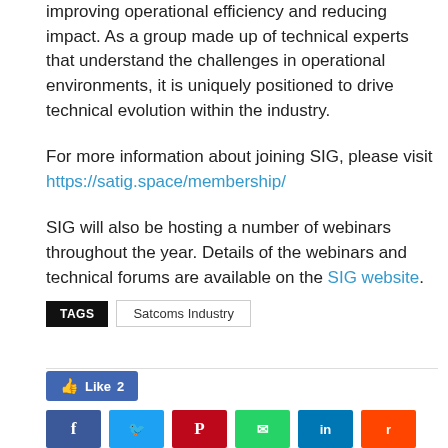improving operational efficiency and reducing impact. As a group made up of technical experts that understand the challenges in operational environments, it is uniquely positioned to drive technical evolution within the industry.
For more information about joining SIG, please visit https://satig.space/membership/
SIG will also be hosting a number of webinars throughout the year. Details of the webinars and technical forums are available on the SIG website.
TAGS   Satcoms Industry
[Figure (other): Facebook Like button showing count of 2, followed by social media sharing buttons for Facebook, Twitter, Pinterest, WhatsApp, LinkedIn, and Reddit]